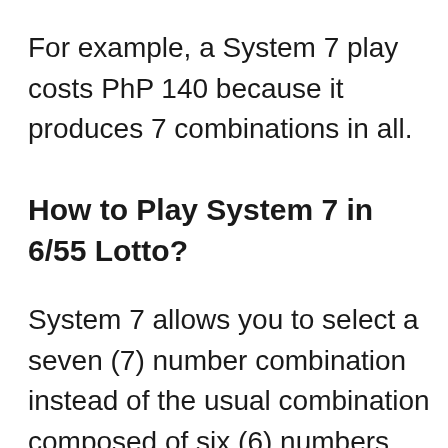For example, a System 7 play costs PhP 140 because it produces 7 combinations in all.
How to Play System 7 in 6/55 Lotto?
System 7 allows you to select a seven (7) number combination instead of the usual combination composed of six (6) numbers. This type of Grand Lotto